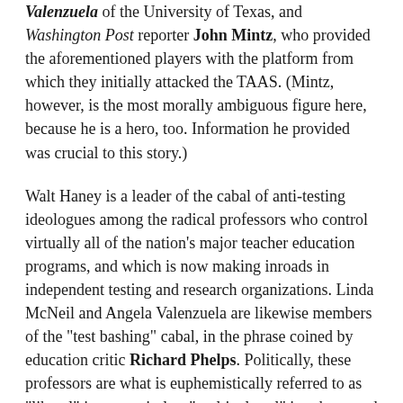Valenzuela of the University of Texas, and Washington Post reporter John Mintz, who provided the aforementioned players with the platform from which they initially attacked the TAAS. (Mintz, however, is the most morally ambiguous figure here, because he is a hero, too. Information he provided was crucial to this story.)
Walt Haney is a leader of the cabal of anti-testing ideologues among the radical professors who control virtually all of the nation's major teacher education programs, and which is now making inroads in independent testing and research organizations. Linda McNeil and Angela Valenzuela are likewise members of the "test bashing" cabal, in the phrase coined by education critic Richard Phelps. Politically, these professors are what is euphemistically referred to as "liberal" in some circles, "multicultural" in others, and what I call "racial socialist," since they combine socialism and racialism.